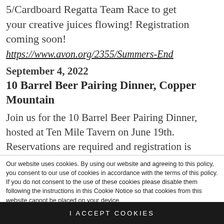5/Cardboard Regatta Team Race to get your creative juices flowing! Registration coming soon!
https://www.avon.org/2355/Summers-End
September 4, 2022
10 Barrel Beer Pairing Dinner, Copper Mountain
Join us for the 10 Barrel Beer Pairing Dinner, hosted at Ten Mile Tavern on June 19th. Reservations are required and registration is coming soon.
https://www.coppercolorado.com/things-to-
Our website uses cookies. By using our website and agreeing to this policy, you consent to our use of cookies in accordance with the terms of this policy. If you do not consent to the use of these cookies please disable them following the instructions in this Cookie Notice so that cookies from this website cannot be placed on your device.
I ACCEPT COOKIES